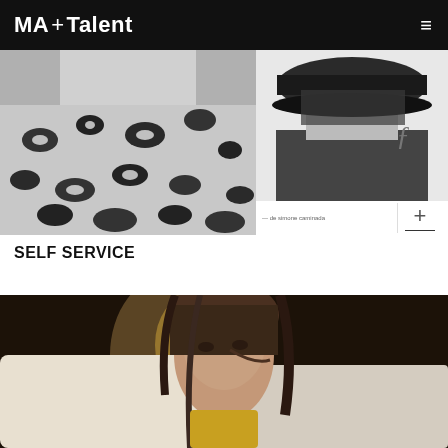MA + Talent
[Figure (photo): Black and white fashion photo of model in leopard print jacket, cropped at shoulders]
[Figure (photo): Black and white photo of model covering face with a cap/hat, editorial fashion shot]
SELF SERVICE
[Figure (photo): Color fashion photo of young female model with brown hair wearing cream knit sweater, looking directly at camera]